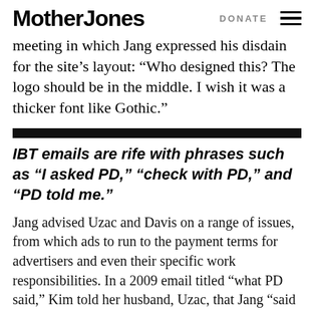Mother Jones | DONATE
meeting in which Jang expressed his disdain for the site's layout: “Who designed this? The logo should be in the middle. I wish it was a thicker font like Gothic.”
IBT emails are rife with phrases such as “I asked PD,” “check with PD,” and “PD told me.”
Jang advised Uzac and Davis on a range of issues, from which ads to run to the payment terms for advertisers and even their specific work responsibilities. In a 2009 email titled “what PD said,” Kim told her husband, Uzac, that Jang “said to